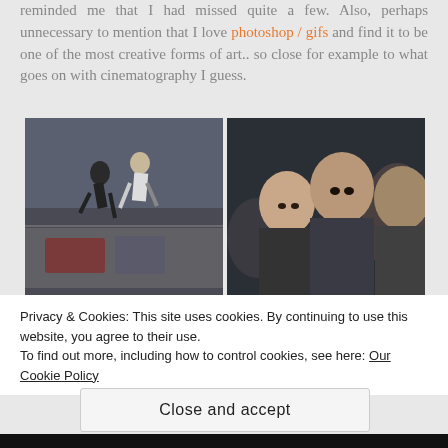reminded me that I had missed quite a few. Also, perhaps unnecessary to mention that I love photoshop / gifs and find it to be one of the most creative forms of art.. so close for example to what goes on with cinematography I guess.
[Figure (photo): Two side-by-side movie stills. Left: action scene with two people jumping off a train. Right: close-up of three cast members looking serious.]
[Figure (photo): Dark banner showing cast member headshots with names: Theo James, Shailene Woodley, Jai Courtney, Zoe Kravitz, Kate Winslet]
Privacy & Cookies: This site uses cookies. By continuing to use this website, you agree to their use.
To find out more, including how to control cookies, see here: Our Cookie Policy
Close and accept